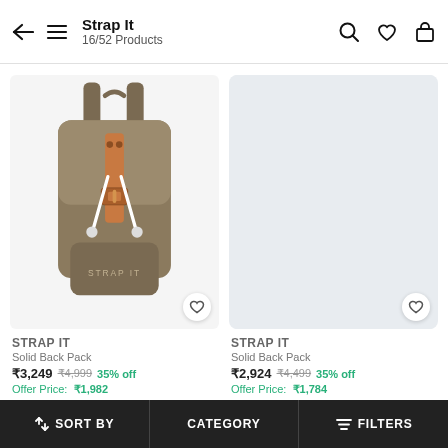Strap It — 16/52 Products
[Figure (photo): Olive/khaki canvas backpack with leather strap and buckle, white drawstring, branded STRAP IT, on white background]
[Figure (photo): Light grey placeholder image for second product]
STRAP IT
Solid Back Pack
₹3,249  ₹4,999  35% off
Offer Price:  ₹1,982
STRAP IT
Solid Back Pack
₹2,924  ₹4,499  35% off
Offer Price:  ₹1,784
↑↓ SORT BY   CATEGORY   ≡ FILTERS